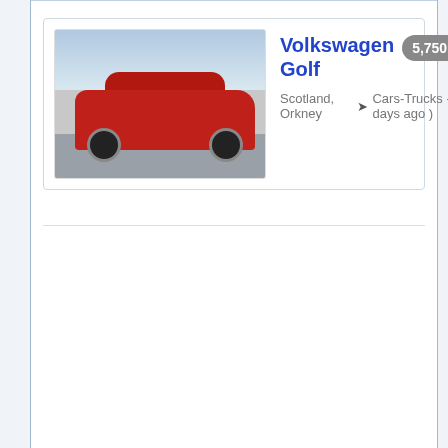[Figure (photo): Thumbnail photo of a red Volkswagen Golf parked in a lot, with a cloudy sky background]
Volkswagen Golf
5,750 GBP
Scotland, Orkney → Cars-Trucks - ( 5 days ago )